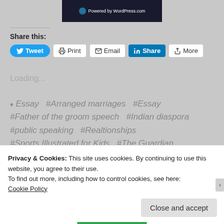[Figure (screenshot): Top dark banner image with WordPress logo and 'Powered by WordPress.com' text]
Share this:
[Figure (screenshot): Share buttons: Tweet, Print, Email, LinkedIn Share, More]
Loading...
♦ Essay  #Arranged marriages  #Essay  #Father of the groom speech  #Indian diaspora  #public speaking  #Realtionships  #Sports Illustrated for Kids  #The Guardian  #The Suitable Boy  #The Washington Post
Privacy & Cookies: This site uses cookies. By continuing to use this website, you agree to their use.
To find out more, including how to control cookies, see here: Cookie Policy
Close and accept